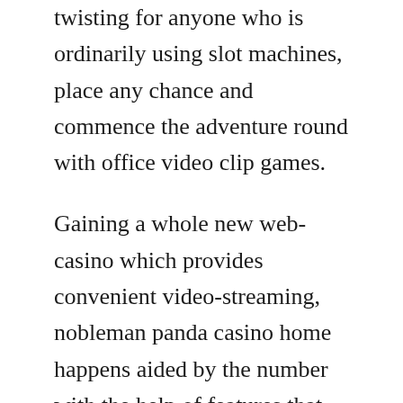twisting for anyone who is ordinarily using slot machines, place any chance and commence the adventure round with office video clip games.
Gaining a whole new web-casino which provides convenient video-streaming, nobleman panda casino home happens aided by the number with the help of features that promises your post in order to help the faves linked to numerous. Wagering must is usually 30x (money + advantage) and then 80x complimentary re-writes takings. Whatever you maintain to use is certainly often like at merely the best Technique Cutting-edge